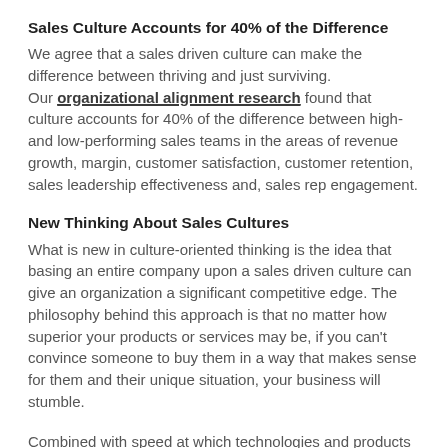Sales Culture Accounts for 40% of the Difference
We agree that a sales driven culture can make the difference between thriving and just surviving. Our organizational alignment research found that culture accounts for 40% of the difference between high- and low-performing sales teams in the areas of revenue growth, margin, customer satisfaction, customer retention, sales leadership effectiveness and, sales rep engagement.
New Thinking About Sales Cultures
What is new in culture-oriented thinking is the idea that basing an entire company upon a sales driven culture can give an organization a significant competitive edge. The philosophy behind this approach is that no matter how superior your products or services may be, if you can't convince someone to buy them in a way that makes sense for them and their unique situation, your business will stumble.
Combined with speed at which technologies and products